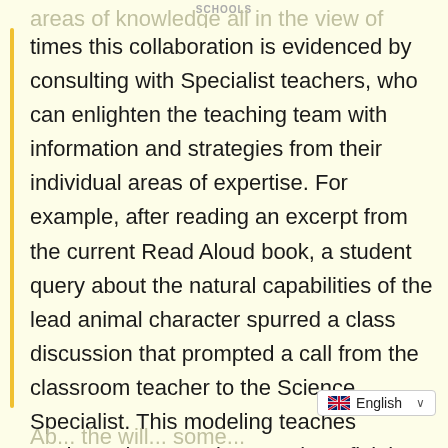SCHOOLS
areas of knowledge all in the view of students. Many times this collaboration is evidenced by consulting with Specialist teachers, who can enlighten the teaching team with information and strategies from their individual areas of expertise. For example, after reading an excerpt from the current Read Aloud book, a student query about the natural capabilities of the lead animal character spurred a class discussion that prompted a call from the classroom teacher to the Science Specialist. This modeling teaches students that questions are beneficial, seeking resources is wise, and collaborating with those around you can lead to greater understanding. This is another important benefit of brave teaching.